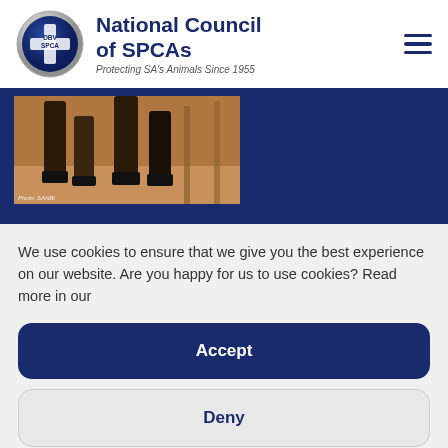[Figure (logo): National Council of SPCAs logo — circular badge with blue cross, text DBV SPCA in center, silver/white border]
National Council of SPCAs
Protecting SA's Animals Since 1955
[Figure (photo): Partial photo of horse legs on dirt ground against dark navy banner background. Caption reads: Photo: SANBI]
We use cookies to ensure that we give you the best experience on our website. Are you happy for us to use cookies? Read more in our
Accept
Deny
Privacy Policy  Privacy Policy